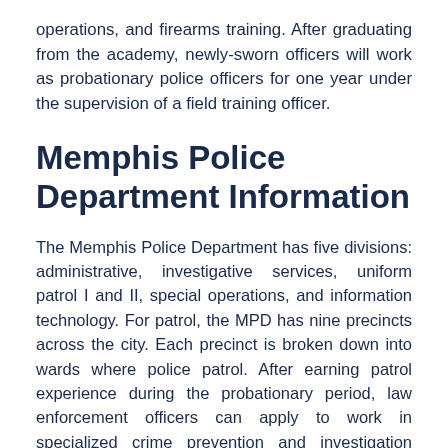operations, and firearms training. After graduating from the academy, newly-sworn officers will work as probationary police officers for one year under the supervision of a field training officer.
Memphis Police Department Information
The Memphis Police Department has five divisions: administrative, investigative services, uniform patrol I and II, special operations, and information technology. For patrol, the MPD has nine precincts across the city. Each precinct is broken down into wards where police patrol. After earning patrol experience during the probationary period, law enforcement officers can apply to work in specialized crime prevention and investigation units including harbor patrol, the bomb unit, homeland security, and air support.
The MPD has several community programs, including